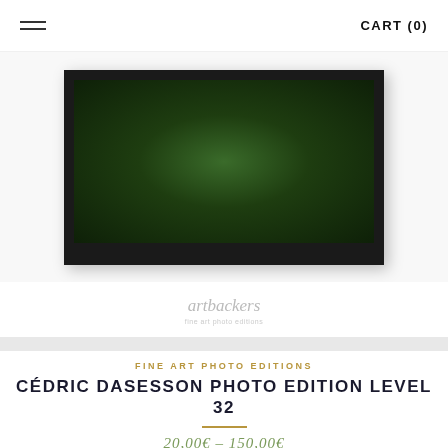CART (0)
[Figure (photo): A framed fine art photograph showing dark green moss or foliage, displayed in a black frame with white mat, against a light gray background.]
[Figure (logo): Art Backers logo in light gray italic text with small tagline beneath.]
FINE ART PHOTO EDITIONS
CÉDRIC DASESSON PHOTO EDITION LEVEL 32
20,00€ – 150,00€
Loading...
Loading...